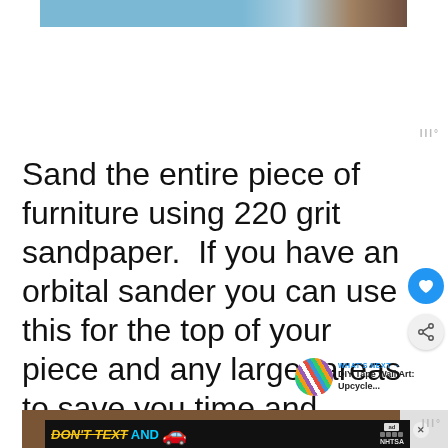[Figure (photo): Top portion of an article page showing a partial image of a person/scene at the top]
Sand the entire piece of furniture using 220 grit sandpaper.  If you have an orbital sander you can use this for the top of your piece and any larger areas to save you time and energy. If not, sanding blocks and regular sandpaper will do just fine.
[Figure (photo): Bottom portion showing a photo and an advertisement banner reading DON'T TEXT AND [car icon] with NHTSA logo]
[Figure (other): WHAT'S NEXT arrow - DIY Tape Wall Art: Upcycle... thumbnail with striped circular image]